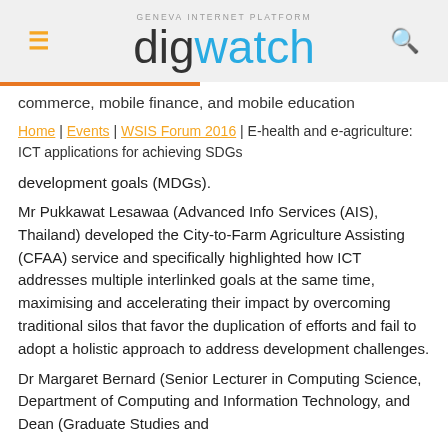GENEVA INTERNET PLATFORM digwatch
commerce, mobile finance, and mobile education
Home | Events | WSIS Forum 2016 | E-health and e-agriculture: ICT applications for achieving SDGs
development goals (MDGs).
Mr Pukkawat Lesawaa (Advanced Info Services (AIS), Thailand) developed the City-to-Farm Agriculture Assisting (CFAA) service and specifically highlighted how ICT addresses multiple interlinked goals at the same time, maximising and accelerating their impact by overcoming traditional silos that favor the duplication of efforts and fail to adopt a holistic approach to address development challenges.
Dr Margaret Bernard (Senior Lecturer in Computing Science, Department of Computing and Information Technology, and Dean (Graduate Studies and